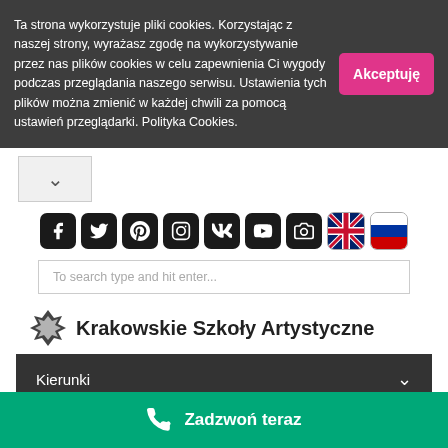Ta strona wykorzystuje pliki cookies. Korzystając z naszej strony, wyrażasz zgodę na wykorzystywanie przez nas plików cookies w celu zapewnienia Ci wygody podczas przeglądania naszego serwisu. Ustawienia tych plików można zmienić w każdej chwili za pomocą ustawień przeglądarki. Polityka Cookies.
[Figure (screenshot): Cookie consent banner with accept button labeled Akceptuję]
[Figure (screenshot): Social media icon row: Facebook, Twitter, Pinterest, Instagram, VK, YouTube, Camera, UK flag, Russian flag]
[Figure (screenshot): Search input field with placeholder text: To search type and hit enter...]
[Figure (logo): Krakowskie Szkoły Artystyczne logo with decorative emblem]
Kierunki
Zadzwoń teraz